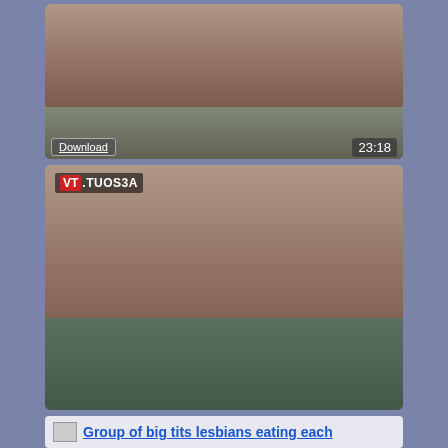[Figure (photo): Video thumbnail showing people on a sofa, with Download button and 23:18 duration overlay]
Blonde milf camgirl sucking and fucking in interracial group sex
[Figure (photo): Video thumbnail showing people in a pool/hot tub, with VT.TUOS3A watermark, Download button and 14:59 duration overlay]
Three amateur Esteban Armando and Facundo having a group sex in a wild swinger orgy!
Group of big tits lesbians eating each